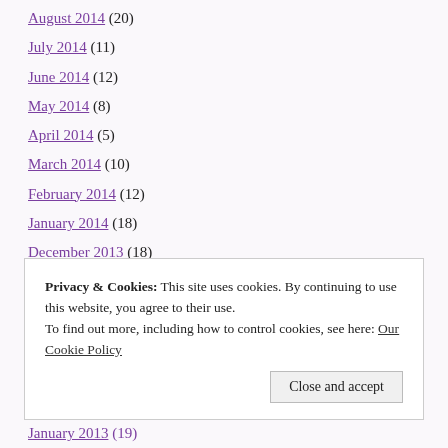August 2014 (20)
July 2014 (11)
June 2014 (12)
May 2014 (8)
April 2014 (5)
March 2014 (10)
February 2014 (12)
January 2014 (18)
December 2013 (18)
November 2013 (5)
October 2013 (9)
September 2013 (11)
August 2013 (2)
Privacy & Cookies: This site uses cookies. By continuing to use this website, you agree to their use. To find out more, including how to control cookies, see here: Our Cookie Policy
January 2013 (19)